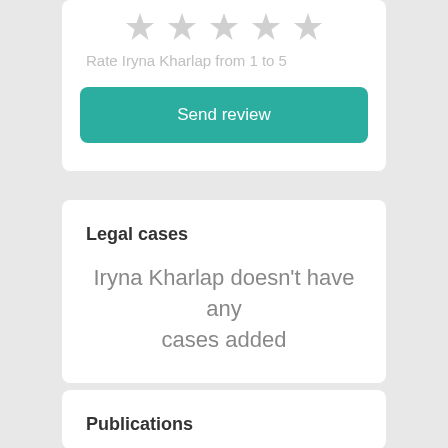Rate Iryna Kharlap from 1 to 5
Send review
Legal cases
Iryna Kharlap doesn't have any cases added
Publications